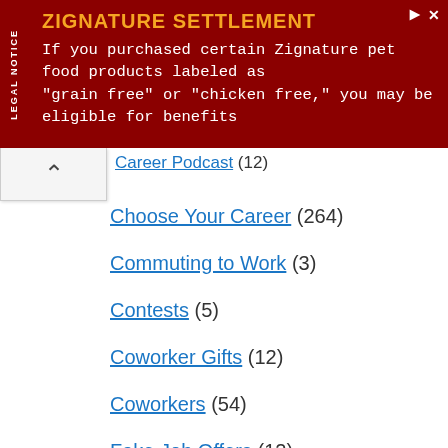[Figure (other): Advertisement banner for Zignature Settlement legal notice. Dark red background with orange title 'ZIGNATURE SETTLEMENT' and white body text: 'If you purchased certain Zignature pet food products labeled as "grain free" or "chicken free," you may be eligible for benefits']
Career Podcast (12)
Choose Your Career (264)
Commuting to Work (3)
Contests (5)
Coworker Gifts (12)
Coworkers (54)
Fake Job Offers (12)
Forward of the Week (19)
Gen Y Career (10)